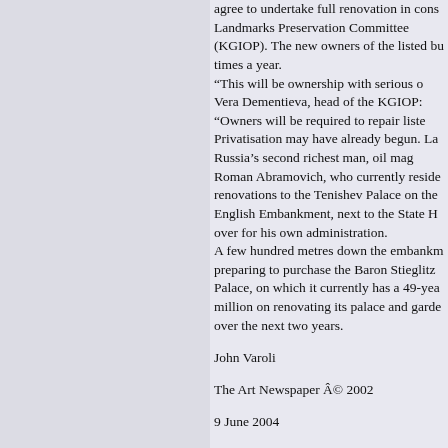agree to undertake full renovation in cons Landmarks Preservation Committee (KGIOP). The new owners of the listed bu times a year. “This will be ownership with serious o Vera Dementieva, head of the KGIOP: “Owners will be required to repair liste Privatisation may have already begun. La Russia’s second richest man, oil mag Roman Abramovich, who currently reside renovations to the Tenishev Palace on the English Embankment, next to the State H over for his own administration. A few hundred metres down the embankm preparing to purchase the Baron Stieglitz Palace, on which it currently has a 49-yea million on renovating its palace and garde over the next two years.
John Varoli
The Art Newspaper © 2002
9 June 2004
Heritage at Risk 2004/2005 Russia 205
Icomos2005 O-Z.XP 22.03.2005 11:51 Uh
An article about privatisation ,persona the hands of privat persons and it will b